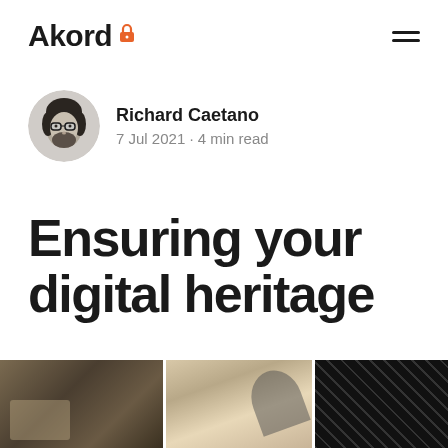Akord
Richard Caetano
7 Jul 2021 · 4 min read
Ensuring your digital heritage
[Figure (photo): Three-panel hero image strip: left panel shows blurred vintage/wooden objects in sepia tones, center panel shows a black and white abstract curved shape, right panel shows dark fabric with small repeating pattern]